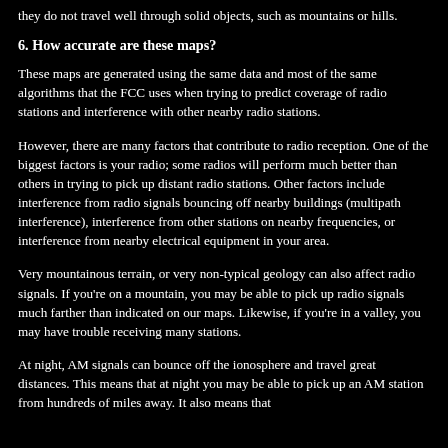they do not travel well through solid objects, such as mountains or hills.
6. How accurate are these maps?
These maps are generated using the same data and most of the same algorithms that the FCC uses when trying to predict coverage of radio stations and interference with other nearby radio stations.
However, there are many factors that contribute to radio reception. One of the biggest factors is your radio; some radios will perform much better than others in trying to pick up distant radio stations. Other factors include interference from radio signals bouncing off nearby buildings (multipath interference), interference from other stations on nearby frequencies, or interference from nearby electrical equipment in your area.
Very mountainous terrain, or very non-typical geology can also affect radio signals. If you're on a mountain, you may be able to pick up radio signals much farther than indicated on our maps. Likewise, if you're in a valley, you may have trouble receiving many stations.
At night, AM signals can bounce off the ionosphere and travel great distances. This means that at night you may be able to pick up an AM station from hundreds of miles away. It also means that